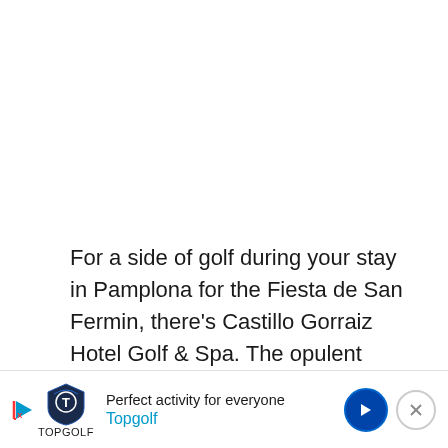For a side of golf during your stay in Pamplona for the Fiesta de San Fermin, there's Castillo Gorraiz Hotel Golf & Spa. The opulent boutique property is near museums and historical sites, and stay... festi...
[Figure (infographic): Advertisement banner for Topgolf. Shows Topgolf shield logo, text 'Perfect activity for everyone' and 'Topgolf' in blue, play button icon on left, blue navigation arrow button and close X button on right.]